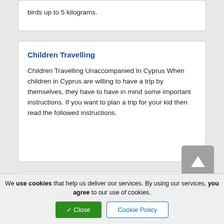birds up to 5 kilograms.
Children Travelling
Children Travelling Unaccompanied In Cyprus When children in Cyprus are willing to have a trip by themselves, they have to have in mind some important instructions. If you want to plan a trip for your kid then read the followed instructions.
Flight Reservation
We use cookies that help us deliver our services. By using our services, you agree to our use of cookies.